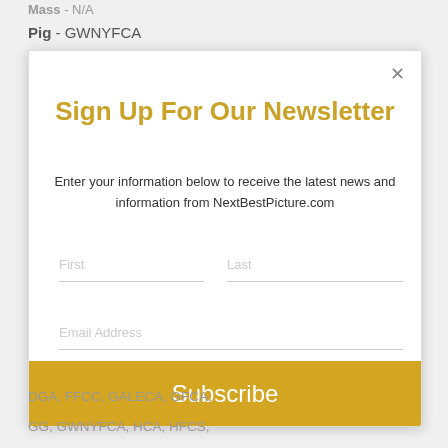Mass - N/A
Pig - GWNYFCA
Sign Up For Our Newsletter
Enter your information below to receive the latest news and information from NextBestPicture.com
First
Last
Email Address
Subscribe
DGA, FFCC, GALECA, GFCA,
GG, GWNYFCA, HCA, HFCS,